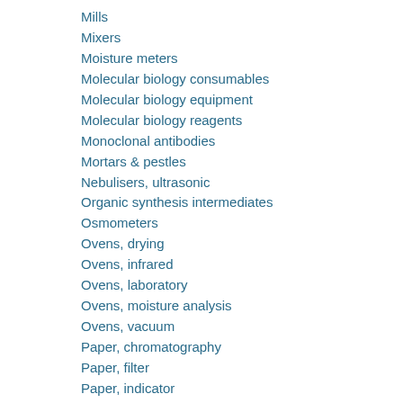Mills
Mixers
Moisture meters
Molecular biology consumables
Molecular biology equipment
Molecular biology reagents
Monoclonal antibodies
Mortars & pestles
Nebulisers, ultrasonic
Organic synthesis intermediates
Osmometers
Ovens, drying
Ovens, infrared
Ovens, laboratory
Ovens, moisture analysis
Ovens, vacuum
Paper, chromatography
Paper, filter
Paper, indicator
Paper, recording
PCR consumables
PCR equipment
Peptides